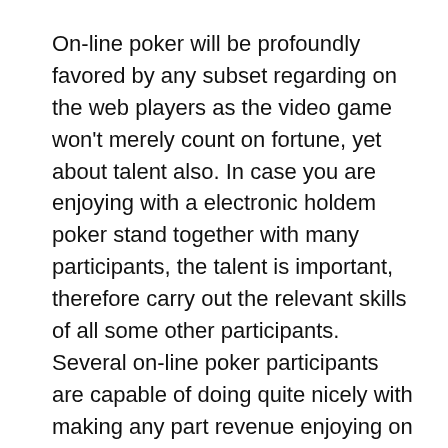On-line poker will be profoundly favored by any subset regarding on the web players as the video game won't merely count on fortune, yet about talent also. In case you are enjoying with a electronic holdem poker stand together with many participants, the talent is important, therefore carry out the relevant skills of all some other participants. Several on-line poker participants are capable of doing quite nicely with making any part revenue enjoying on the web since they have worked on their video game and also their particular gambling approaches for decades.
Yet imagine if one of many some other participants just isn't individual?